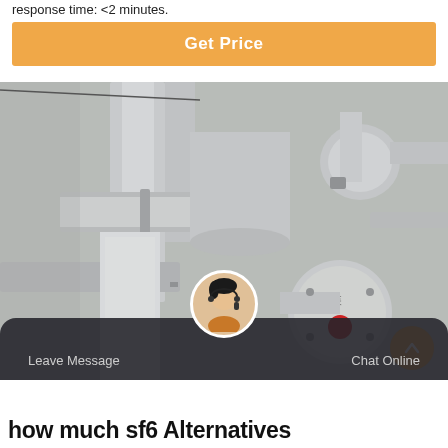response time: <2 minutes.
[Figure (other): Orange 'Get Price' button with white text on orange background]
[Figure (photo): Industrial gas insulated switchgear (GIS) equipment showing large metal pipes, valves, flanges, and pressure vessels in grey/silver tones. A spherical component with a red indicator dot and Chinese text is visible on the right side.]
Leave Message
Chat Online
how much sf6 Alternatives